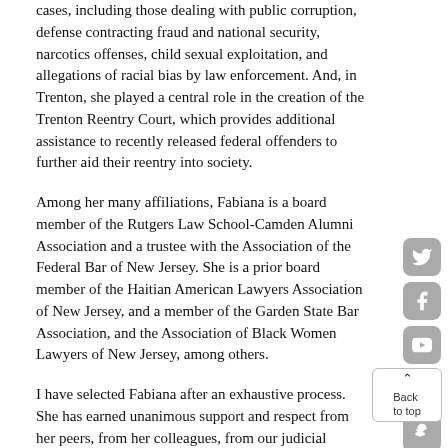cases, including those dealing with public corruption, defense contracting fraud and national security, narcotics offenses, child sexual exploitation, and allegations of racial bias by law enforcement. And, in Trenton, she played a central role in the creation of the Trenton Reentry Court, which provides additional assistance to recently released federal offenders to further aid their reentry into society.
Among her many affiliations, Fabiana is a board member of the Rutgers Law School-Camden Alumni Association and a trustee with the Association of the Federal Bar of New Jersey. She is a prior board member of the Haitian American Lawyers Association of New Jersey, and a member of the Garden State Bar Association, and the Association of Black Women Lawyers of New Jersey, among others.
I have selected Fabiana after an exhaustive process. She has earned unanimous support and respect from her peers, from her colleagues, from our judicial advisory panel, and importantly, from the trailblazers who made today possible.
She has been described glowingly as both a “superstar” and a “unique blend of intellect and humility.” To a person, everyone with whom I or my team talked to about Fabiana spoke about her humanity, her empathy, and her character. They spoke about the kind of person she is—the kind of person who...
[Figure (infographic): Social media icons column: Twitter, Facebook, YouTube, Instagram, Snapchat]